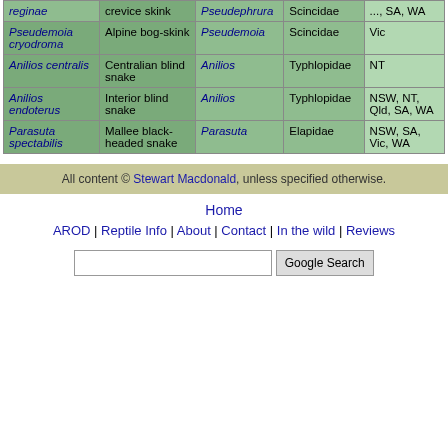| Species | Common name | Genus | Family | States |
| --- | --- | --- | --- | --- |
| reginae | crevice skink | Pseudephrura | Scincidae | ..., SA, WA |
| Pseudemoia cryodroma | Alpine bog-skink | Pseudemoia | Scincidae | Vic |
| Anilios centralis | Centralian blind snake | Anilios | Typhlopidae | NT |
| Anilios endoterus | Interior blind snake | Anilios | Typhlopidae | NSW, NT, Qld, SA, WA |
| Parasuta spectabilis | Mallee black-headed snake | Parasuta | Elapidae | NSW, SA, Vic, WA |
All content © Stewart Macdonald, unless specified otherwise.
Home
AROD | Reptile Info | About | Contact | In the wild | Reviews